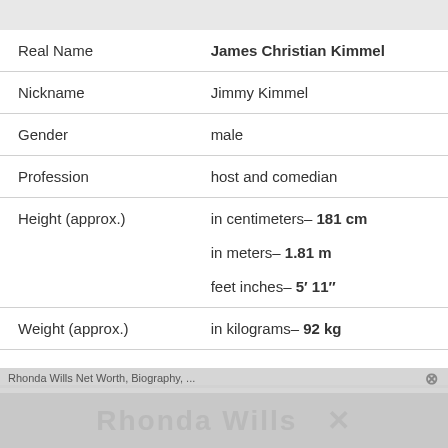| Field | Value |
| --- | --- |
| Real Name | James Christian Kimmel |
| Nickname | Jimmy Kimmel |
| Gender | male |
| Profession | host and comedian |
| Height (approx.) | in centimeters– 181 cm
in meters– 1.81 m
feet inches– 5′ 11″ |
| Weight (approx.) | in kilograms– 92 kg |